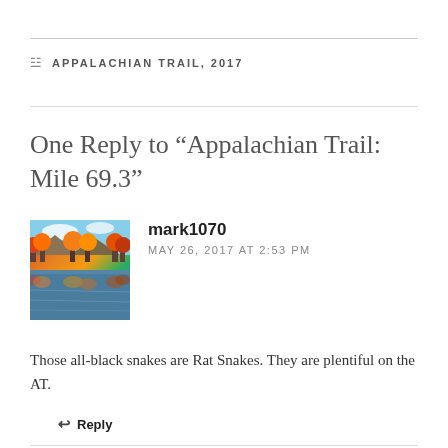APPALACHIAN TRAIL, 2017
One Reply to “Appalachian Trail: Mile 69.3”
[Figure (photo): Avatar photo of commenter mark1070 showing an autumn forest reflected in a lake with fall foliage colors of orange, red and yellow]
mark1070
MAY 26, 2017 AT 2:53 PM
Those all-black snakes are Rat Snakes. They are plentiful on the AT.
Reply
Leave a Reply
Your email address will not be published. Required fields